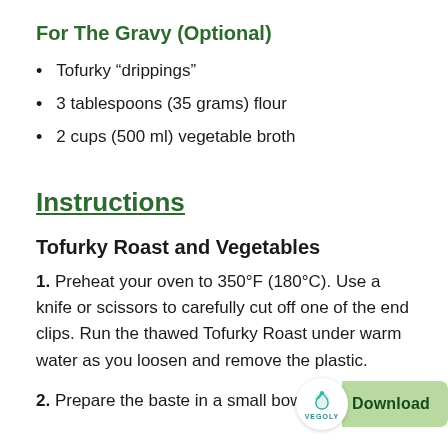For The Gravy (Optional)
Tofurky “drippings”
3 tablespoons (35 grams) flour
2 cups (500 ml) vegetable broth
Instructions
Tofurky Roast and Vegetables
1. Preheat your oven to 350°F (180°C). Use a knife or scissors to carefully cut off one of the end clips. Run the thawed Tofurky Roast under warm water as you loosen and remove the plastic.
2. Prepare the baste in a small bowl. Mix together